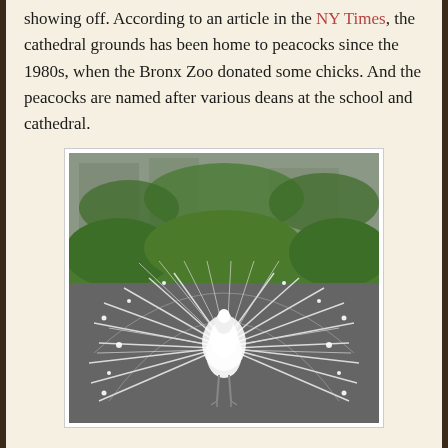showing off. According to an article in the NY Times, the cathedral grounds has been home to peacocks since the 1980s, when the Bronx Zoo donated some chicks. And the peacocks are named after various deans at the school and cathedral.
[Figure (photo): A white peacock with its tail feathers fully fanned out, standing on a paved surface in front of green hedges and buildings, photographed from behind.]
Marceline, who is the Co-President of the Parents Association at The Cathedral School, ultimately chose Bookplate Ink's design B211 because of the